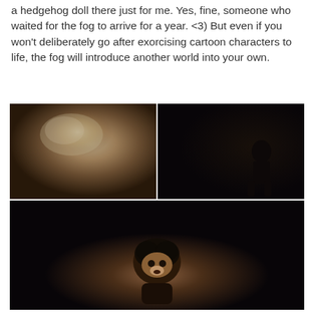a hedgehog doll there just for me. Yes, fine, someone who waited for the fog to arrive for a year. <3) But even if you won't deliberately go after exorcising cartoon characters to life, the fog will introduce another world into your own.
[Figure (photo): Two photos side by side: left shows a foggy scene with glowing light and smoke/mist in brownish-dark tones; right shows a dark scene with a silhouetted figure visible against a dark background.]
[Figure (photo): A dark photo showing a small doll or puppet figure (resembling a hedgehog or animal character with dark fur/hair) illuminated against a very dark/black background.]